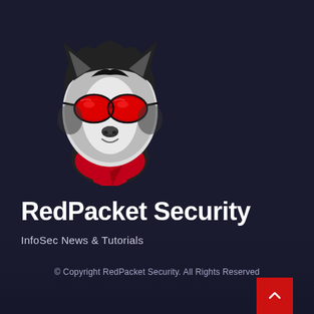[Figure (logo): Wolf/fox mascot logo wearing red sunglasses and a red bandana, drawn in black, white, and red tones on dark background]
RedPacket Security
InfoSec News & Tutorials
© Copyright RedPacket Security. All Rights Reserved
[Figure (other): Red scroll-to-top button with upward chevron arrow in bottom right corner]